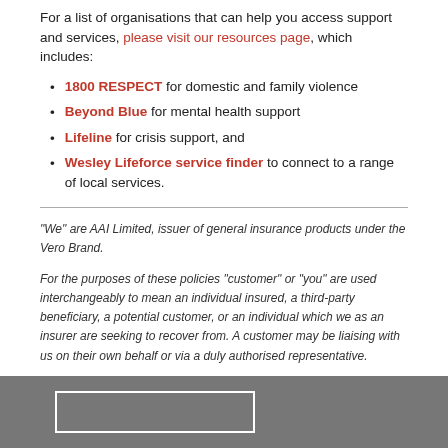For a list of organisations that can help you access support and services, please visit our resources page, which includes:
1800 RESPECT for domestic and family violence
Beyond Blue for mental health support
Lifeline for crisis support, and
Wesley Lifeforce service finder to connect to a range of local services.
“We” are AAI Limited, issuer of general insurance products under the Vero Brand.
For the purposes of these policies “customer” or “you” are used interchangeably to mean an individual insured, a third-party beneficiary, a potential customer, or an individual which we as an insurer are seeking to recover from. A customer may be liaising with us on their own behalf or via a duly authorised representative.